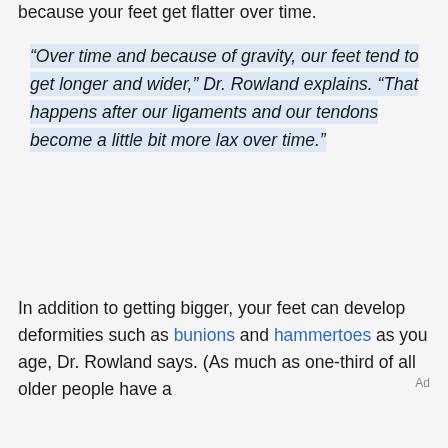because your feet get flatter over time.
“Over time and because of gravity, our feet tend to get longer and wider,” Dr. Rowland explains. “That happens after our ligaments and our tendons become a little bit more lax over time.”
In addition to getting bigger, your feet can develop deformities such as bunions and hammertoes as you age, Dr. Rowland says. (As much as one-third of all older people have a
Ad